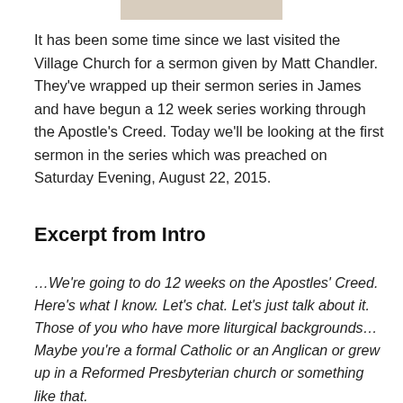[Figure (photo): Small horizontal image strip at the top of the page, appearing to be a decorative or header image, partially visible.]
It has been some time since we last visited the Village Church for a sermon given by Matt Chandler. They've wrapped up their sermon series in James and have begun a 12 week series working through the Apostle's Creed. Today we'll be looking at the first sermon in the series which was preached on Saturday Evening, August 22, 2015.
Excerpt from Intro
…We're going to do 12 weeks on the Apostles' Creed. Here's what I know. Let's chat. Let's just talk about it. Those of you who have more liturgical backgrounds… Maybe you're a formal Catholic or an Anglican or grew up in a Reformed Presbyterian church or something like that.